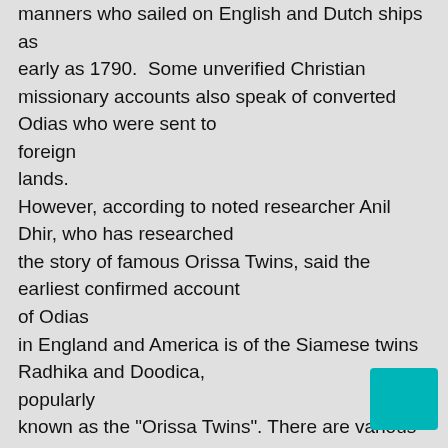manners who sailed on English and Dutch ships as early as 1790. Some unverified Christian missionary accounts also speak of converted Odias who were sent to foreign lands. However, according to noted researcher Anil Dhir, who has researched the story of famous Orissa Twins, said the earliest confirmed account of Odias in England and America is of the Siamese twins Radhika and Doodica, popularly known as the "Orissa Twins". There are various newspaper accounts of these twins having toured the Americas, Europe and England. The sisters had a decade long stint, exhibiting themselves as freaks in different exhibitions. The twins were born in 1888 to Khestra Nayak of Haopara village in Dhenkanal District. For the poor parents, the deformed kids were a